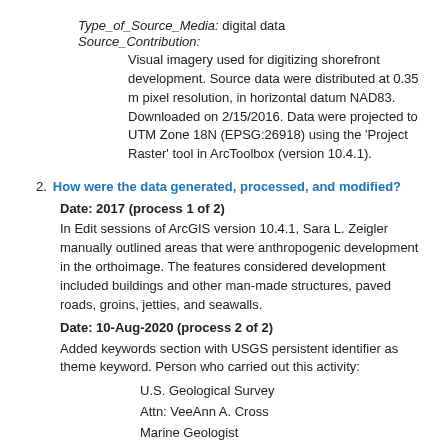Type_of_Source_Media: digital data
Source_Contribution:
Visual imagery used for digitizing shorefront development. Source data were distributed at 0.35 m pixel resolution, in horizontal datum NAD83. Downloaded on 2/15/2016. Data were projected to UTM Zone 18N (EPSG:26918) using the ‘Project Raster’ tool in ArcToolbox (version 10.4.1).
2. How were the data generated, processed, and modified?
Date: 2017 (process 1 of 2)
In Edit sessions of ArcGIS version 10.4.1, Sara L. Zeigler manually outlined areas that were anthropogenic development in the orthoimage. The features considered development included buildings and other man-made structures, paved roads, groins, jetties, and seawalls.
Date: 10-Aug-2020 (process 2 of 2)
Added keywords section with USGS persistent identifier as theme keyword. Person who carried out this activity:
U.S. Geological Survey
Attn: VeeAnn A. Cross
Marine Geologist